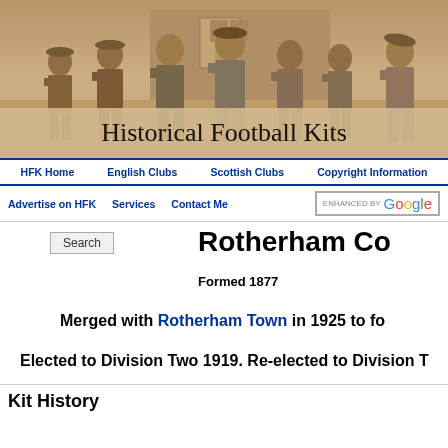[Figure (photo): Sepia-toned historical photograph of a group of football players posing together, early 20th century style]
Historical Football Kits
HFK Home | English Clubs | Scottish Clubs | Copyright Information
Advertise on HFK | Services | Contact Me | ENHANCED BY Google [search box]
Rotherham Co
Formed 1877
Merged with Rotherham Town in 1925 to fo
Elected to Division Two 1919. Re-elected to Division T
Kit History